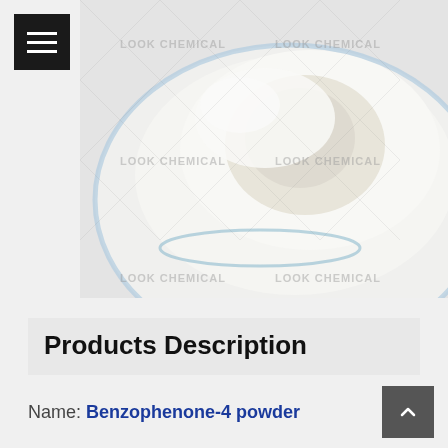[Figure (photo): White powder in a glass petri dish on white background, watermarked with 'LOOK CHEMICAL' text repeated in a diagonal pattern]
Products Description
Name: Benzophenone-4 powder